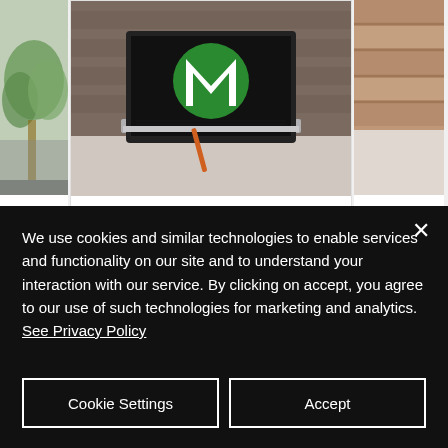[Figure (screenshot): A website screenshot showing three card items. The center card shows a laptop with a green circular 'M' logo on its screen, on a desk. Below the image is the text 'Meet Feature Member | Martin Mann IT'. Left and right cards are partially visible.]
Meet Feature Member | Martin Mann IT
We use cookies and similar technologies to enable services and functionality on our site and to understand your interaction with our service. By clicking on accept, you agree to our use of such technologies for marketing and analytics. See Privacy Policy